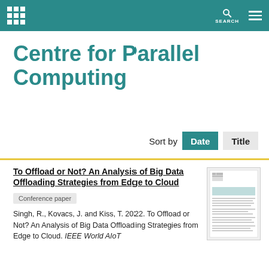Centre for Parallel Computing — site header with navigation icons
Centre for Parallel Computing
Sort by Date Title
To Offload or Not? An Analysis of Big Data Offloading Strategies from Edge to Cloud
Conference paper
Singh, R., Kovacs, J. and Kiss, T. 2022. To Offload or Not? An Analysis of Big Data Offloading Strategies from Edge to Cloud. IEEE World AIoT